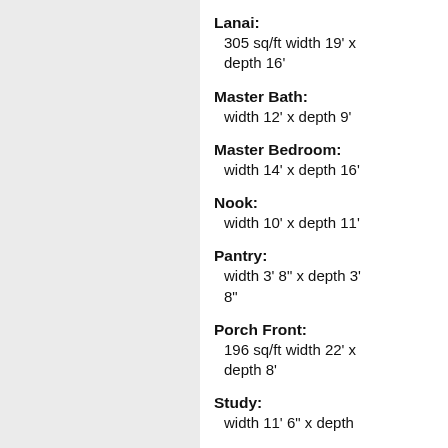Lanai: 305 sq/ft width 19' x depth 16'
Master Bath: width 12' x depth 9'
Master Bedroom: width 14' x depth 16'
Nook: width 10' x depth 11'
Pantry: width 3' 8" x depth 3' 8"
Porch Front: 196 sq/ft width 22' x depth 8'
Study: width 11' 6" x depth